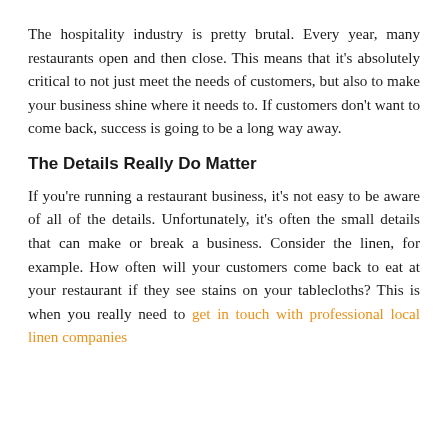The hospitality industry is pretty brutal. Every year, many restaurants open and then close. This means that it's absolutely critical to not just meet the needs of customers, but also to make your business shine where it needs to. If customers don't want to come back, success is going to be a long way away.
The Details Really Do Matter
If you're running a restaurant business, it's not easy to be aware of all of the details. Unfortunately, it's often the small details that can make or break a business. Consider the linen, for example. How often will your customers come back to eat at your restaurant if they see stains on your tablecloths? This is when you really need to get in touch with professional local linen companies